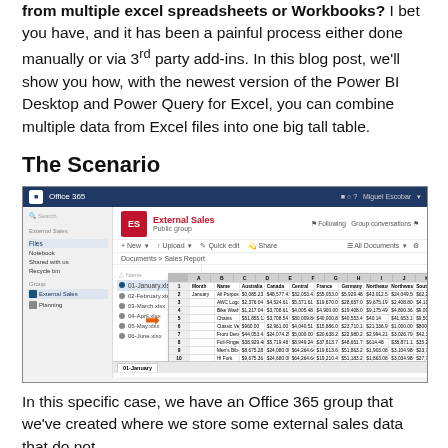from multiple excel spreadsheets or Workbooks? I bet you have, and it has been a painful process either done manually or via 3rd party add-ins. In this blog post, we'll show you how, with the newest version of the Power BI Desktop and Power Query for Excel, you can combine multiple data from Excel files into one big tall table.
The Scenario
[Figure (screenshot): Screenshot of Office 365 SharePoint group 'External Sales' showing a Files folder with a Sales Report document library containing multiple monthly Excel files (01-January.xlsx, 02-February.xlsx, etc.) and a spreadsheet preview with sales data columns including Month, Name, Australia, Canada, Central, France, Germany, Northeast, Northwest, Southeast, Southwest, United Kingdom.]
In this specific case, we have an Office 365 group that we've created where we store some external sales data that do not